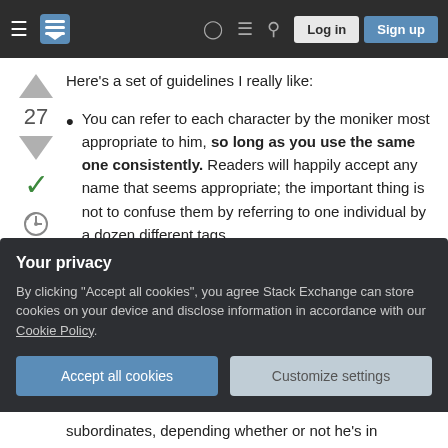Stack Exchange navigation bar with hamburger menu, logo, help, chat, search icons, Log in and Sign up buttons
Here's a set of guidelines I really like:
You can refer to each character by the moniker most appropriate to him, so long as you use the same one consistently. Readers will happily accept any name that seems appropriate; the important thing is not to confuse them by referring to one individual by a dozen different tags.
You can have different characters refer to an
[Figure (screenshot): Privacy cookie consent overlay with title 'Your privacy', body text about accepting cookies and Cookie Policy link, and two buttons: 'Accept all cookies' and 'Customize settings']
subordinates, depending whether or not he's in